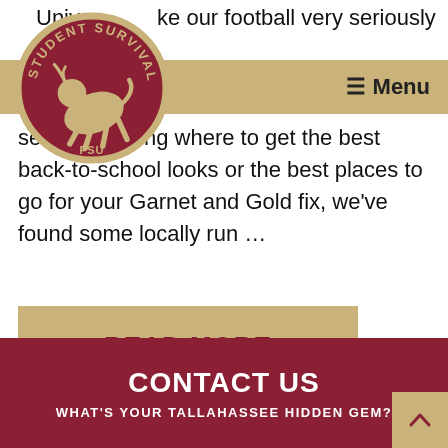University take our football very seriously in this town
[Figure (logo): FSU Student Survival circular logo with running Seminole mascot in red and gold]
≡ Menu
se...ndering where to get the best back-to-school looks or the best places to go for your Garnet and Gold fix, we've found some locally run ...
READ MORE
CONTACT US
WHAT'S YOUR TALLAHASSEE HIDDEN GEM?